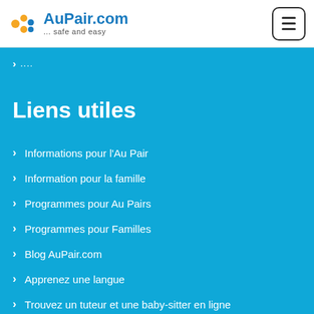AuPair.com ... safe and easy
> ....
Liens utiles
Informations pour l'Au Pair
Information pour la famille
Programmes pour Au Pairs
Programmes pour Familles
Blog AuPair.com
Apprenez une langue
Trouvez un tuteur et une baby-sitter en ligne